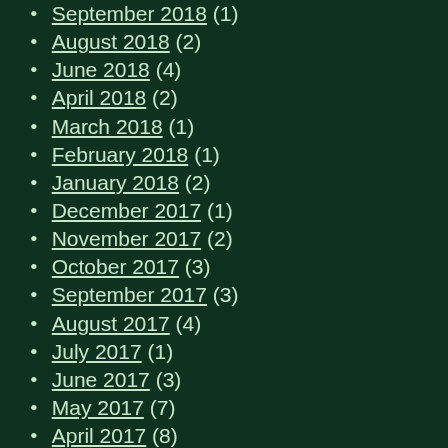September 2018 (1)
August 2018 (2)
June 2018 (4)
April 2018 (2)
March 2018 (1)
February 2018 (1)
January 2018 (2)
December 2017 (1)
November 2017 (2)
October 2017 (3)
September 2017 (3)
August 2017 (4)
July 2017 (1)
June 2017 (3)
May 2017 (7)
April 2017 (8)
March 2017 (6)